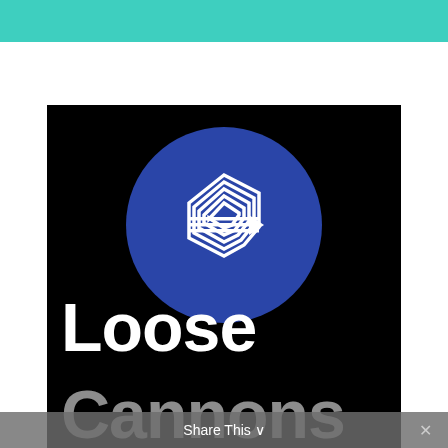[Figure (logo): Teal/turquoise horizontal banner bar at top of page]
[Figure (logo): Black rectangular block containing a blue circle with a white stylized hexagonal arrow logo, and large white bold text reading 'Loose Cannons']
Share This ✓
✕